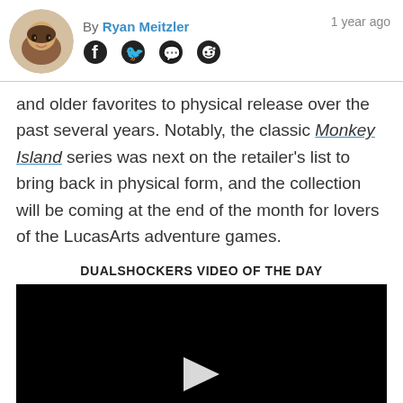By Ryan Meitzler  1 year ago
and older favorites to physical release over the past several years. Notably, the classic Monkey Island series was next on the retailer's list to bring back in physical form, and the collection will be coming at the end of the month for lovers of the LucasArts adventure games.
DUALSHOCKERS VIDEO OF THE DAY
[Figure (screenshot): Video player with black background and white play button triangle in center]